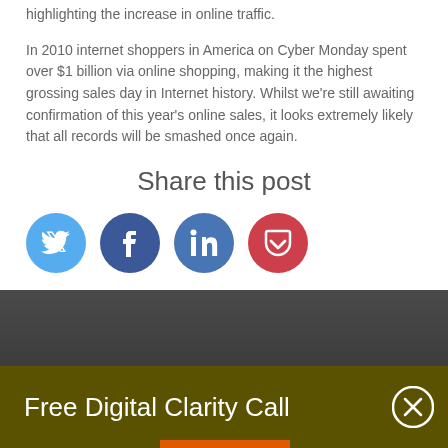highlighting the increase in online traffic.

In 2010 internet shoppers in America on Cyber Monday spent over $1 billion via online shopping, making it the highest grossing sales day in Internet history. Whilst we're still awaiting confirmation of this year's online sales, it looks extremely likely that all records will be smashed once again.
Share this post
[Figure (infographic): Four social media share buttons: Twitter (light blue circle), Facebook (dark blue circle), LinkedIn (dark blue-grey circle), Pocket (red circle with down-chevron icon)]
[Figure (infographic): Dark gradient background section with an advertisement banner reading 'Free Digital Clarity Call' with a close button (X) and an orange bar at the bottom]